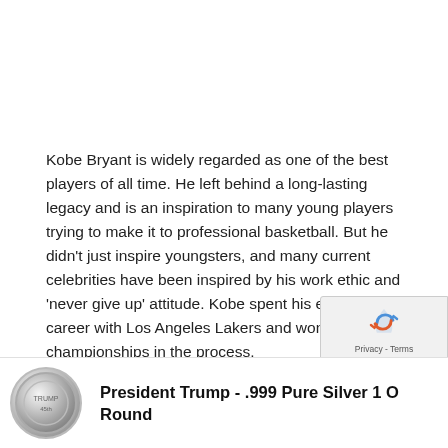Kobe Bryant is widely regarded as one of the best players of all time. He left behind a long-lasting legacy and is an inspiration to many young players trying to make it to professional basketball. But he didn't just inspire youngsters, and many current celebrities have been inspired by his work ethic and 'never give up' attitude. Kobe spent his entire career with Los Angeles Lakers and won five championships in the process.
[Figure (other): Advertisement banner with silver coin image and bold text reading 'President Trump - .999 Pure Silver 1 O Round']